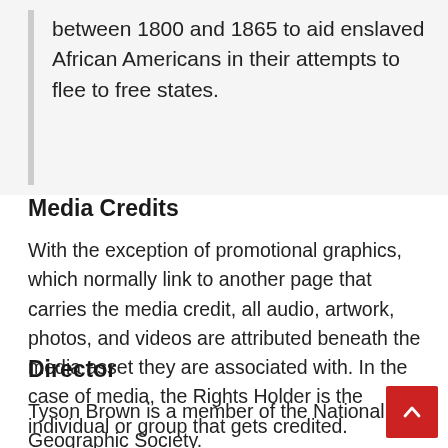between 1800 and 1865 to aid enslaved African Americans in their attempts to flee to free states.
Media Credits
With the exception of promotional graphics, which normally link to another page that carries the media credit, all audio, artwork, photos, and videos are attributed beneath the media asset they are associated with. In the case of media, the Rights Holder is the individual or group that gets credited.
Director
Tyson Brown is a member of the National Geographic Society.